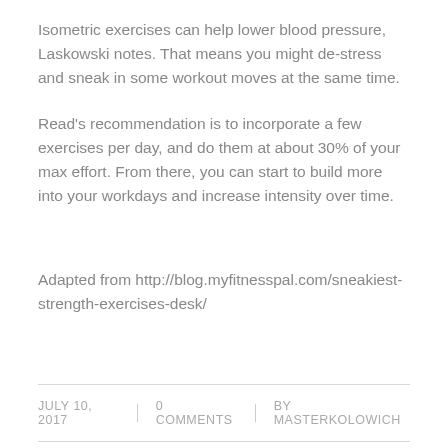Isometric exercises can help lower blood pressure, Laskowski notes. That means you might de-stress and sneak in some workout moves at the same time.
Read's recommendation is to incorporate a few exercises per day, and do them at about 30% of your max effort. From there, you can start to build more into your workdays and increase intensity over time.
Adapted from http://blog.myfitnesspal.com/sneakiest-strength-exercises-desk/
JULY 10, 2017 | 0 COMMENTS | BY MASTERKOLOWICH